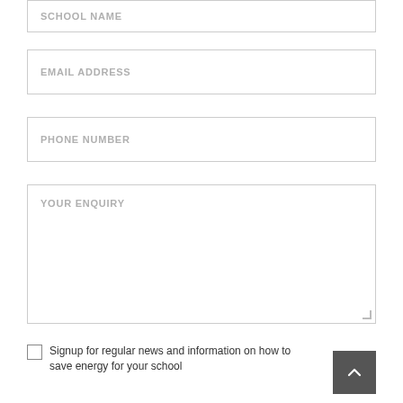SCHOOL NAME
EMAIL ADDRESS
PHONE NUMBER
YOUR ENQUIRY
Signup for regular news and information on how to save energy for your school